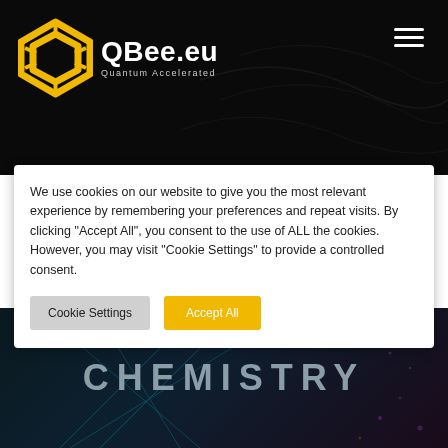[Figure (logo): QBee.eu logo with hexagonal yellow icon and white text 'QBee.eu' with tagline 'Quantum Accelerated']
We use cookies on our website to give you the most relevant experience by remembering your preferences and repeat visits. By clicking “Accept All”, you consent to the use of ALL the cookies. However, you may visit “Cookie Settings” to provide a controlled consent.
Cookie Settings
Accept All
CHEMISTRY